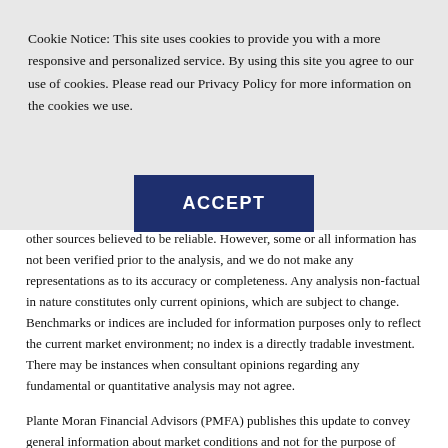Cookie Notice: This site uses cookies to provide you with a more responsive and personalized service. By using this site you agree to our use of cookies. Please read our Privacy Policy for more information on the cookies we use.
[Figure (other): ACCEPT button — dark navy blue rectangle with bold white uppercase text 'ACCEPT']
other sources believed to be reliable. However, some or all information has not been verified prior to the analysis, and we do not make any representations as to its accuracy or completeness. Any analysis non-factual in nature constitutes only current opinions, which are subject to change. Benchmarks or indices are included for information purposes only to reflect the current market environment; no index is a directly tradable investment. There may be instances when consultant opinions regarding any fundamental or quantitative analysis may not agree.
Plante Moran Financial Advisors (PMFA) publishes this update to convey general information about market conditions and not for the purpose of providing investment advice. Investment in any of